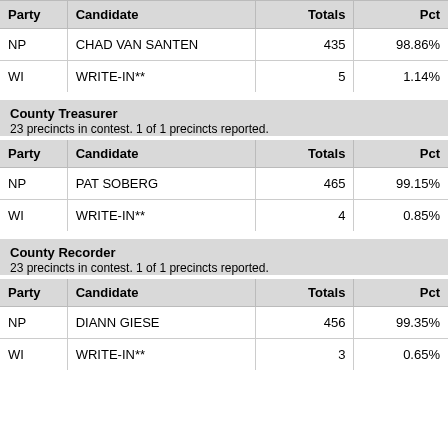| Party | Candidate | Totals | Pct |
| --- | --- | --- | --- |
| NP | CHAD VAN SANTEN | 435 | 98.86% |
| WI | WRITE-IN** | 5 | 1.14% |
County Treasurer
23 precincts in contest. 1 of 1 precincts reported.
| Party | Candidate | Totals | Pct |
| --- | --- | --- | --- |
| NP | PAT SOBERG | 465 | 99.15% |
| WI | WRITE-IN** | 4 | 0.85% |
County Recorder
23 precincts in contest. 1 of 1 precincts reported.
| Party | Candidate | Totals | Pct |
| --- | --- | --- | --- |
| NP | DIANN GIESE | 456 | 99.35% |
| WI | WRITE-IN** | 3 | 0.65% |